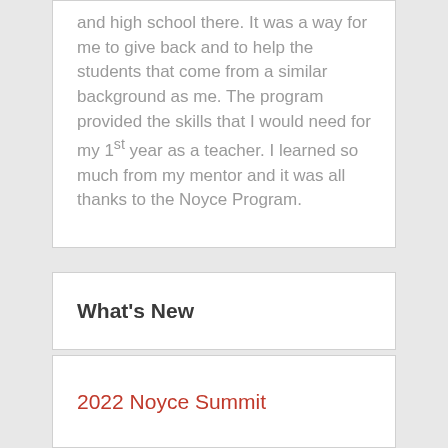and high school there. It was a way for me to give back and to help the students that come from a similar background as me. The program provided the skills that I would need for my 1st year as a teacher. I learned so much from my mentor and it was all thanks to the Noyce Program.
What's New
2022 Noyce Summit